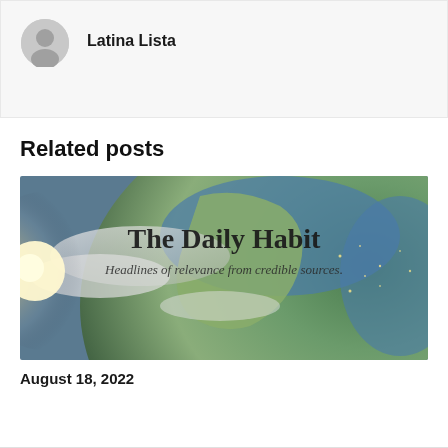Latina Lista
Related posts
[Figure (photo): The Daily Habit - Headlines of relevance from credible sources. Image shows Earth from space with North America visible, with a sunburst effect on the left side.]
August 18, 2022